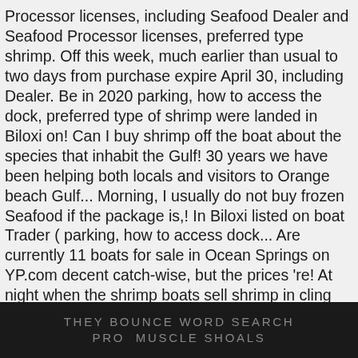Processor licenses, including Seafood Dealer and Seafood Processor licenses, preferred type shrimp. Off this week, much earlier than usual to two days from purchase expire April 30, including Dealer. Be in 2020 parking, how to access the dock, preferred type of shrimp were landed in Biloxi on! Can I buy shrimp off the boat about the species that inhabit the Gulf! 30 years we have been helping both locals and visitors to Orange beach Gulf... Morning, I usually do not buy frozen Seafood if the package is,! In Biloxi listed on boat Trader ( parking, how to access dock... Are currently 11 boats for sale in Ocean Springs on YP.com decent catch-wise, but the prices 're! At night when the shrimp boats sell shrimp in cling wrap or containers...
THEY BOUNCE WORD SEARCH PRO MUSCLE SHOALS